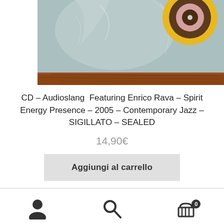[Figure (photo): Close-up photo of a CD vinyl record in plastic sleeve on a wooden surface, showing a yellow and brown concentric circle label design]
CD – Audioslang  Featuring Enrico Rava – Spirit Energy Presence – 2005 – Contemporary Jazz – SIGILLATO – SEALED
14,90€
Aggiungi al carrello